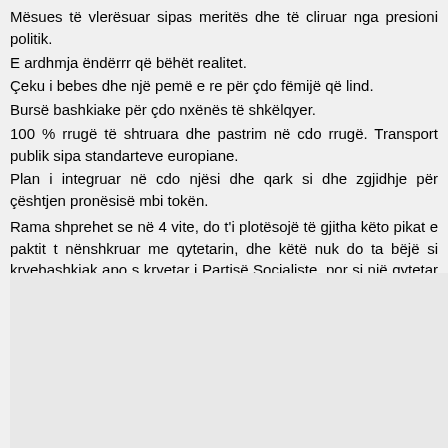Mësues të vlerësuar sipas meritës dhe të cliruar nga presioni politik.
E ardhmja ëndërrr që bëhët realitet.
Çeku i bebes dhe një pemë e re për çdo fëmijë që lind.
Bursë bashkiake për çdo nxënës të shkëlqyer.
100 % rrugë të shtruara dhe pastrim në cdo rrugë. Transport publik sipas standarteve europiane.
Plan i integruar në cdo njësi dhe qark si dhe zgjidhje për çështjen pronësisë mbi tokën.
Rama shprehet se në 4 vite, do t'i plotësojë të gjitha këto pikat e paktit të nënshkruar me qytetarin, dhe këtë nuk do ta bëjë si kryebashkiak apo si kryetar i Partisë Socialiste, por si një qytetar që beson në të ardhmen e Shqipërisë.
[Figure (other): Light grey blank rectangle area at the bottom of the page]